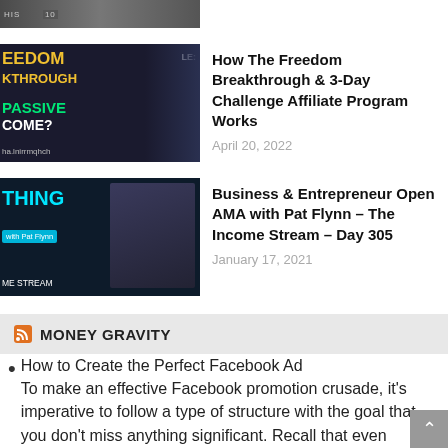[Figure (screenshot): Partial thumbnail of a video, dark background with partial text visible]
[Figure (screenshot): Thumbnail for 'How The Freedom Breakthrough & 3-Day Challenge Affiliate Program Works' video with yellow and green text on dark background]
How The Freedom Breakthrough & 3-Day Challenge Affiliate Program Works
April 20, 2022
[Figure (screenshot): Thumbnail for 'Business & Entrepreneur Open AMA with Pat Flynn – The Income Stream – Day 305' video]
Business & Entrepreneur Open AMA with Pat Flynn – The Income Stream – Day 305
January 17, 2021
MONEY GRAVITY
How to Create the Perfect Facebook Ad
To make an effective Facebook promotion crusade, it's imperative to follow a type of structure with the goal that you don't miss anything significant. Recall that even experienced pilots utilize an agenda to guarantee that they remember whatever that is required. You're not accounta… for 200 spirits, however you actually need to utilize an